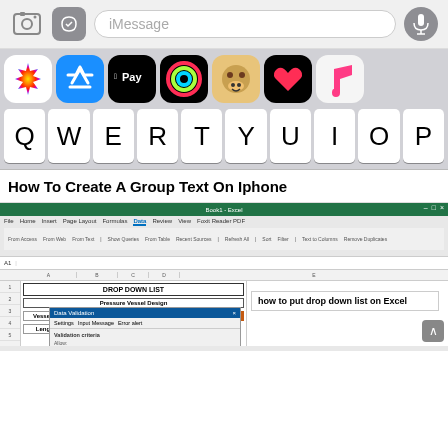[Figure (screenshot): iPhone iMessage compose bar with camera and App Store icons, iMessage input field, and microphone button]
[Figure (screenshot): iPhone app icons row showing Photos, App Store, Apple Pay, Activity, Memoji, Heart health, and Music apps above a QWERTY keyboard row showing Q W E R T Y U I O P keys]
How To Create A Group Text On Iphone
[Figure (screenshot): Microsoft Excel screenshot showing a DROP DOWN LIST for Pressure Vessel Design with vessel diameter and length rows, an orange and blue bar chart, and a Data Validation dialog box. Text overlay reads 'how to put drop down list on Excel']